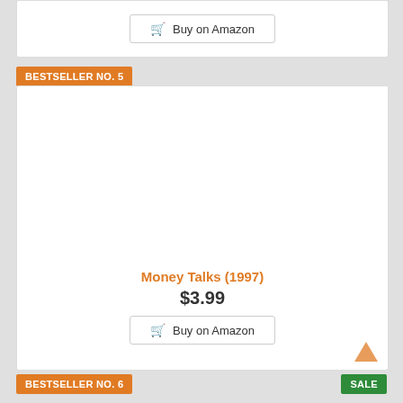[Figure (other): Buy on Amazon button (top card, partially visible)]
BESTSELLER NO. 5
Money Talks (1997)
$3.99
[Figure (other): Buy on Amazon button for Money Talks (1997)]
[Figure (other): Orange upward arrow icon (back to top)]
BESTSELLER NO. 6
SALE